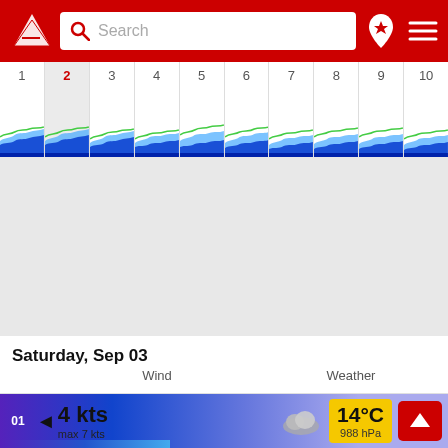Search
[Figure (screenshot): Day tabs strip showing days 1-10 with wave chart animations at the bottom of each tab. Day 2 is selected (highlighted in grey) with red number.]
[Figure (continuous-plot): Wave/tide chart area showing green and blue wave patterns across all day tabs]
Saturday, Sep 03
Wind
Weather
01  ◄  4 kts  max 7 kts  14°C  988 hPa